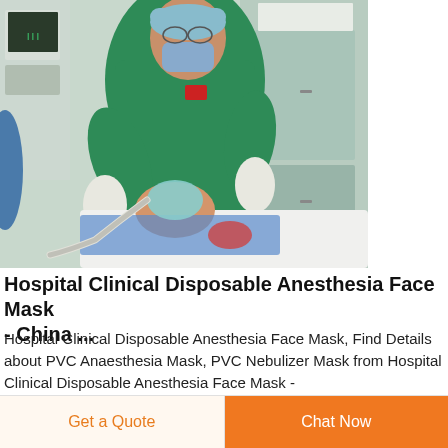[Figure (photo): A nurse in green scrubs and surgical mask applies an anesthesia face mask to a patient lying on an operating table in a clinical setting.]
Hospital Clinical Disposable Anesthesia Face Mask - China ...
Hospital Clinical Disposable Anesthesia Face Mask, Find Details about PVC Anaesthesia Mask, PVC Nebulizer Mask from Hospital Clinical Disposable Anesthesia Face Mask -